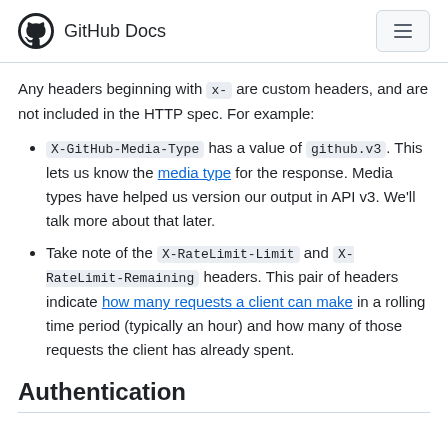GitHub Docs
Any headers beginning with x- are custom headers, and are not included in the HTTP spec. For example:
X-GitHub-Media-Type has a value of github.v3. This lets us know the media type for the response. Media types have helped us version our output in API v3. We'll talk more about that later.
Take note of the X-RateLimit-Limit and X-RateLimit-Remaining headers. This pair of headers indicate how many requests a client can make in a rolling time period (typically an hour) and how many of those requests the client has already spent.
Authentication